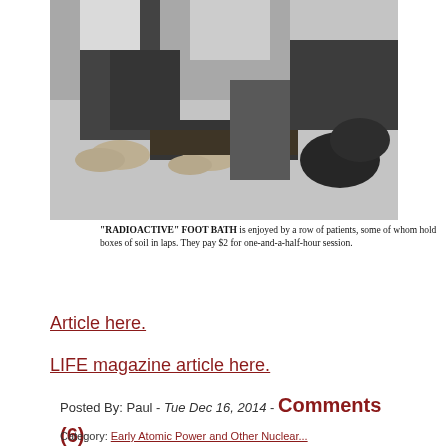[Figure (photo): Black and white photograph of people sitting with bare feet in what appears to be a radioactive foot bath, some holding boxes of soil in their laps.]
"RADIOACTIVE" FOOT BATH is enjoyed by a row of patients, some of whom hold boxes of soil in laps. They pay $2 for one-and-a-half-hour session.
Article here.
LIFE magazine article here.
Posted By: Paul - Tue Dec 16, 2014 - Comments (6)
Category: Early Atomic Power and Other Nuclear...